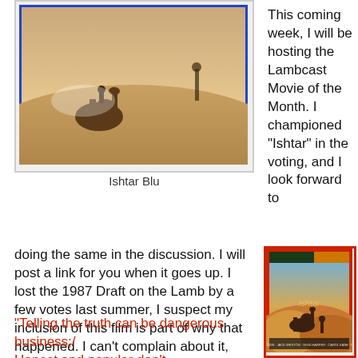[Figure (photo): Photo of Ishtar Blu-ray, showing a desert scene with camel and rider]
Ishtar Blu
This coming week, I will be hosting the Lambcast Movie of the Month. I championed "Ishtar" in the voting, and I look forward to
doing the same in the discussion. I will post a link for you when it goes up. I lost the 1987 Draft on the Lamb by a few votes last summer, I suspect my inclusion of this film is part of why that happened. I can't complain about it, because the words of Rodgers and Clarke already told us this was true...
[Figure (photo): Photo of Ishtar LaserDisc cover showing desert dunes with camel, red border frame]
"Telling the truth can be dangerous business;/ Honest and popular don't